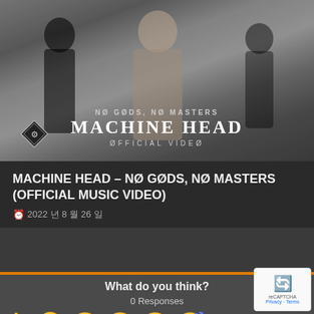[Figure (screenshot): Video thumbnail showing silhouetted figures with text overlay: NO GODS, NO MASTERS / MACHINE HEAD / OFFICIAL VIDEO, with diamond logo on lower left]
MACHINE HEAD – NØ GØDS, NØ MASTERS (OFFICIAL MUSIC VIDEO)
2022 년 8 월 26 일
What do you think?
0 Responses
[Figure (illustration): Row of emoji reaction icons: thumbs up, laughing face with tongue, heart eyes, surprised face, sad face with tear, and partially visible emoji]